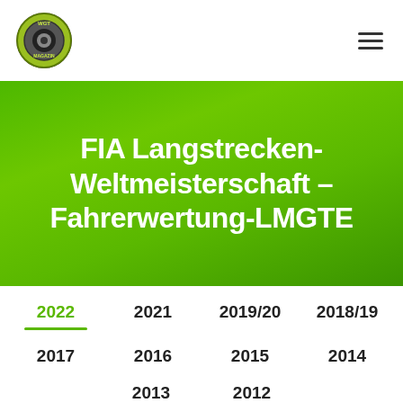WGT Magazin logo and navigation menu
FIA Langstrecken-Weltmeisterschaft – Fahrerwertung-LMGTE
2022
2021
2019/20
2018/19
2017
2016
2015
2014
2013
2012